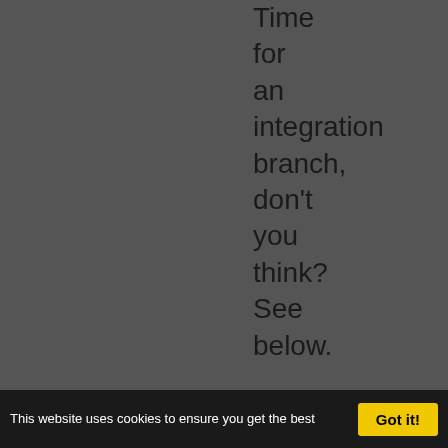Time for an integration branch, don't you think? See below.
Notifications
The current plugin does not integrate with email notifications. This could be done the "normal" way via the ITicketChangeListener once #7758 is
This website uses cookies to ensure you get the best